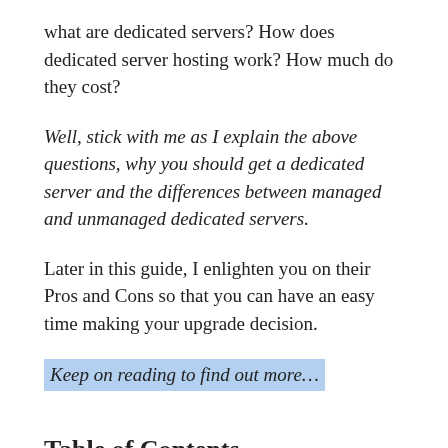what are dedicated servers? How does dedicated server hosting work? How much do they cost?
Well, stick with me as I explain the above questions, why you should get a dedicated server and the differences between managed and unmanaged dedicated servers.
Later in this guide, I enlighten you on their Pros and Cons so that you can have an easy time making your upgrade decision.
Keep on reading to find out more…
Table of Contents